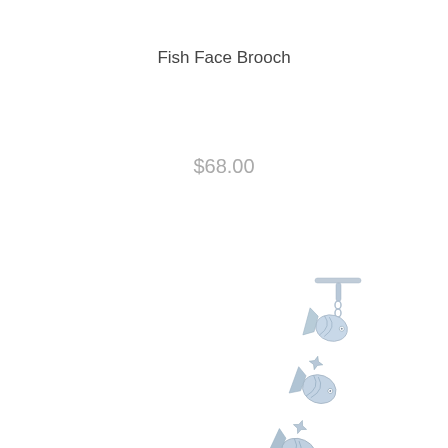Fish Face Brooch
$68.00
[Figure (photo): A silver fish-link bracelet displayed diagonally. The bracelet features multiple fish-face shaped charms connected by small star/leaf shaped links, with a T-bar toggle clasp at the top and a circular ring clasp at the bottom. The jewelry is silver-toned with textured detail on each fish charm.]